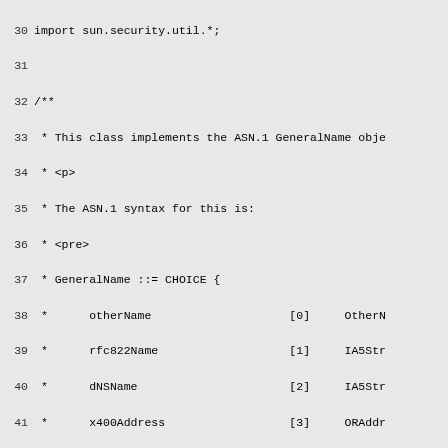Source code listing lines 30-59 of GeneralName.java, showing import statement, Javadoc comment describing ASN.1 GeneralName object with syntax table, and beginning of public class GeneralName with private data member and start of default constructor.